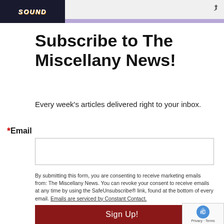SOUND
Subscribe to The Miscellany News!
Every week's articles delivered right to your inbox.
*Email
By submitting this form, you are consenting to receive marketing emails from: The Miscellany News. You can revoke your consent to receive emails at any time by using the SafeUnsubscribe® link, found at the bottom of every email. Emails are serviced by Constant Contact.
Sign Up!